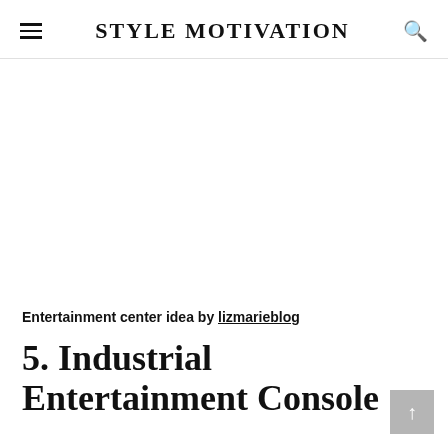STYLE MOTIVATION
[Figure (photo): Blank white image area for entertainment center photo]
Entertainment center idea by lizmarieblog
5. Industrial Entertainment Console